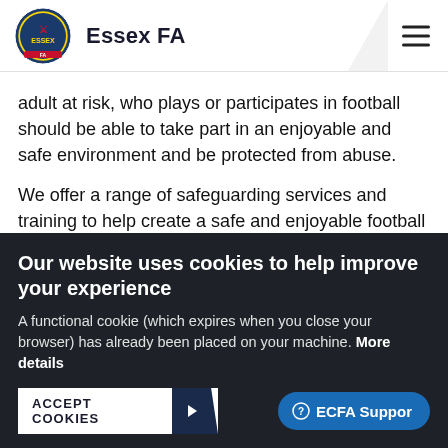Essex FA
adult at risk, who plays or participates in football should be able to take part in an enjoyable and safe environment and be protected from abuse.
We offer a range of safeguarding services and training to help create a safe and enjoyable football experience for everyone. We ensure safeguarding requirements are met
Our website uses cookies to help improve your experience
A functional cookie (which expires when you close your browser) has already been placed on your machine. More details